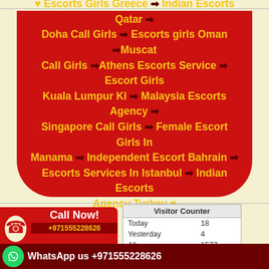♥ Escorts Girls Greece ➡ Indian Escorts Qatar ➡ Doha Call Girls ➡ Escorts girls Oman ➡Muscat Call Girls ➡Athens Escorts Service ➡ Escort Girls Kuala Lumpur Kl ➡ Malaysia Escorts Agency ➡ Singapore Call Girls ➡ Female Escort Girls In Manama ➡ Independent Escort Bahrain ➡ Escorts Services In Istanbul ➡ Indian Escorts Agency Turkey ♥
[Figure (infographic): Call Now button with phone icon and number +971555228626]
| Visitor Counter |  |
| --- | --- |
| Today | 18 |
| Yesterday | 4 |
| All | 1577 |
| Online | 2 |
XML
WhatsApp us +971555228626